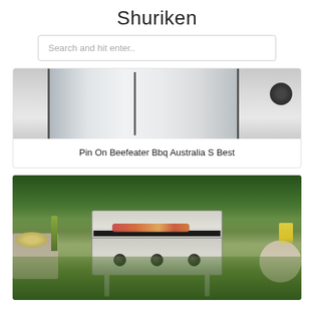Shuriken
Search and hit enter..
[Figure (photo): A stainless steel BBQ grill cabinet with doors, wheels visible on the right side, shown from the lower portion]
Pin On Beefeater Bbq Australia S Best
[Figure (photo): Outdoor BBQ flatplate grill with food cooking on it, set up in a garden with green trees in background, tables on each side with food and drinks]